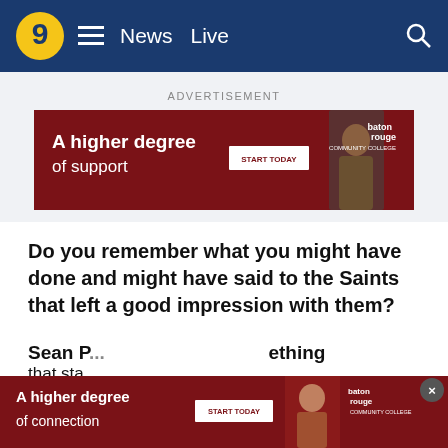9 ≡ News  Live  🔍
ADVERTISEMENT
[Figure (infographic): Red advertisement banner for Baton Rouge Community College reading 'A higher degree of support' with a START TODAY button and a photo of a smiling man.]
Do you remember what you might have done and might have said to the Saints that left a good impression with them?
“Just my ability to remember the calls. They had me watch film and gave me calls and allowed me to take notes. It was basically as if it was my first day with the team and I was able to reiterate plays really easy. I think that’s one thing they are impressed with.”
[Figure (infographic): Bottom overlay red advertisement banner for Baton Rouge Community College reading 'A higher degree of connection' with START TODAY button and a person image.]
Sean P... ...ething that sta...